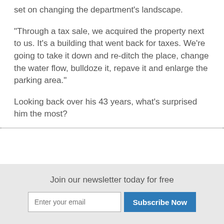set on changing the department's landscape.
“Through a tax sale, we acquired the property next to us. It's a building that went back for taxes. We're going to take it down and re-ditch the place, change the water flow, bulldoze it, repave it and enlarge the parking area.”
Looking back over his 43 years, what's surprised him the most?
Join our newsletter today for free